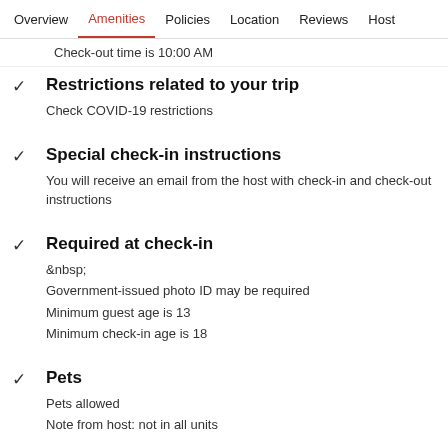Overview  Amenities  Policies  Location  Reviews  Host
Check-out time is 10:00 AM
Restrictions related to your trip
Check COVID-19 restrictions
Special check-in instructions
You will receive an email from the host with check-in and check-out instructions
Required at check-in
&nbsp;
Government-issued photo ID may be required
Minimum guest age is 13
Minimum check-in age is 18
Pets
Pets allowed
Note from host: not in all units